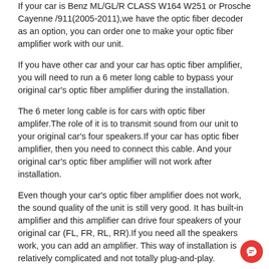If your car is Benz ML/GL/R CLASS W164 W251 or Prosche Cayenne /911(2005-2011),we have the optic fiber decoder as an option, you can order one to make your optic fiber amplifier work with our unit.
If you have other car and your car has optic fiber amplifier, you will need to run a 6 meter long cable to bypass your original car's optic fiber amplifier during the installation.
The 6 meter long cable is for cars with optic fiber amplifer.The role of it is to transmit sound from our unit to your original car's four speakers.If your car has optic fiber amplifier, then you need to connect this cable. And your original car's optic fiber amplifier will not work after installation.
Even though your car's optic fiber amplifier does not work, the sound quality of the unit is still very good. It has built-in amplifier and this amplifier can drive four speakers of your original car (FL, FR, RL, RR).If you need all the speakers work, you can add an amplifier. This way of installation is relatively complicated and not totally plug-and-play.
If you need to check if your car has optic fiber amplifier, you may need to remove your oriignal car's radio andsend us pictures of the plugs. You can also consult at the place where